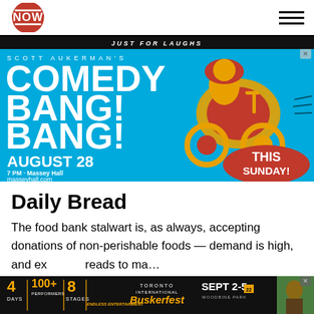NOW Magazine header with logo and hamburger menu
[Figure (illustration): Advertisement for Scott Aukerman's Comedy Bang! Bang! at Massey Hall, August 28, 7 PM. Blue background with illustrated motorcycle rider. Text: JUST FOR LAUGHS / SCOTT AUKERMAN'S / COMEDY BANG! BANG! / AUGUST 28 / 7 PM · Massey Hall / masseyhall.com / THIS SUNDAY!]
Daily Bread
The food bank stalwart is, as always, accepting donations of non-perishable foods — demand is high, and ex… reads to ma…
[Figure (illustration): Advertisement for Toronto International Buskerfest, Sept 2-5, Woodbine Park. Shows: 4 Days, 100+ Performers, 8 Stages, Endless Entertainment.]